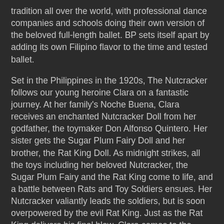tradition all over the world, with professional dance companies and schools doing their own version of the beloved full-length ballet. BP sets itself apart by adding its own Filipino flavor to the time and tested ballet.
Set in the Philippines in the 1920s, The Nutcracker follows our young heroine Clara on a fantastic journey. At her family's Noche Buena, Clara receives an enchanted Nutcracker Doll from her godfather, the toymaker Don Alfonso Quintero. Her sister gets the Sugar Plum Fairy Doll and her brother, the Rat King Doll. As midnight strikes, all the toys including her beloved Nutcracker, the Sugar Plum Fairy and the Rat King come to life, and a battle between Rats and Toy Soldiers ensues. Her Nutcracker valiantly leads the soldiers, but is soon overpowered by the evil Rat King. Just as the Rat King delivers his final blow, Clara comes to the Nutcracker's rescue and the Rat King falls.
As the rats scurry off with their king, Don Alfonso appears and reveals the true identity of her doll—he is the Nutcracker Prince! He and the Sugar Plum Fairy have been trapped in a spell which only a person pure of heart can break.